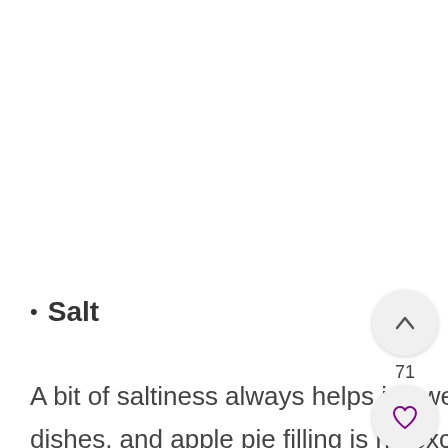Salt
A bit of saltiness always helps in sweet dishes, and apple pie filling is no excepti… You can use either regular table salt or if you want to be really fancy, Himalayan